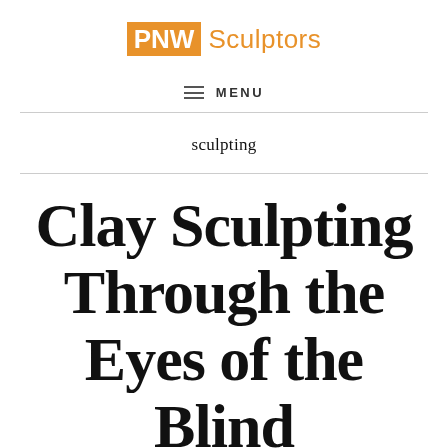PNW Sculptors
MENU
sculpting
Clay Sculpting Through the Eyes of the Blind